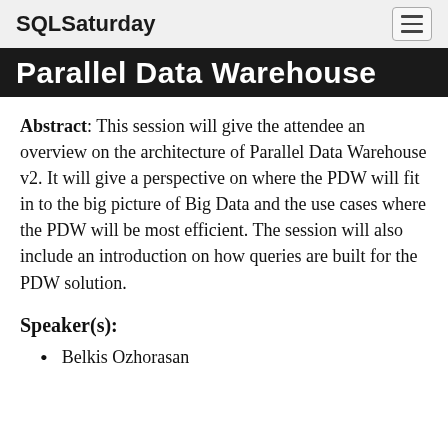SQLSaturday
Parallel Data Warehouse
Abstract: This session will give the attendee an overview on the architecture of Parallel Data Warehouse v2. It will give a perspective on where the PDW will fit in to the big picture of Big Data and the use cases where the PDW will be most efficient. The session will also include an introduction on how queries are built for the PDW solution.
Speaker(s):
Belkis Ozhorasan